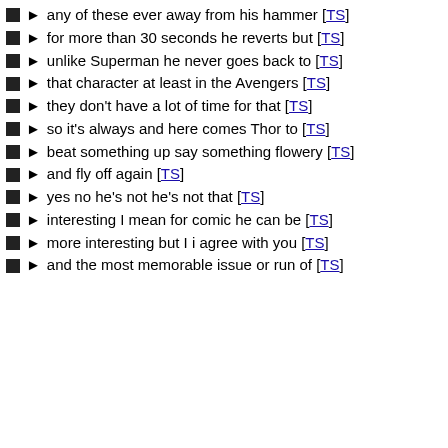any of these ever away from his hammer [TS]
for more than 30 seconds he reverts but [TS]
unlike Superman he never goes back to [TS]
that character at least in the Avengers [TS]
they don't have a lot of time for that [TS]
so it's always and here comes Thor to [TS]
beat something up say something flowery [TS]
and fly off again [TS]
yes no he's not he's not that [TS]
interesting I mean for comic he can be [TS]
more interesting but I i agree with you [TS]
and the most memorable issue or run of [TS]